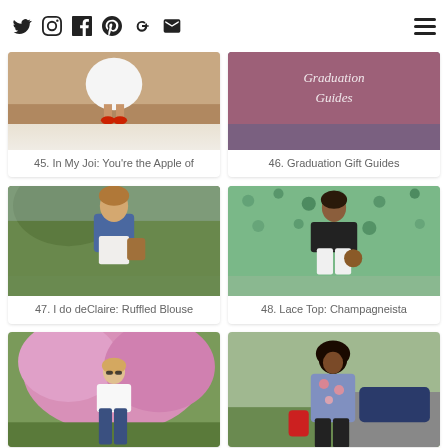Social media icons: Twitter, Instagram, Facebook, Pinterest, Google+, Email — and hamburger menu
[Figure (photo): Woman in white skirt and red heels, item 45]
45. In My Joi: You're the Apple of
[Figure (photo): Graduation Gift Guides promotional image, item 46]
46. Graduation Gift Guides
[Figure (photo): Woman in denim jacket and white dress carrying tan bag, item 47]
47. I do deClaire: Ruffled Blouse
[Figure (photo): Woman in black off-shoulder top and white jeans against floral wall, item 48]
48. Lace Top: Champagneista
[Figure (photo): Woman in white ruffled top and jeans in front of pink flowering tree, item 49]
[Figure (photo): Woman in floral embroidered blue shirt carrying red bag, item 50]